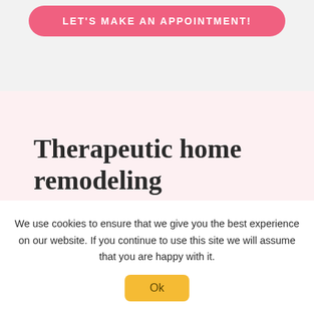[Figure (other): Pink rounded button with white uppercase text reading 'LET'S MAKE AN APPOINTMENT!' on a light gray background]
Therapeutic home remodeling
We use cookies to ensure that we give you the best experience on our website. If you continue to use this site we will assume that you are happy with it.
[Figure (other): Yellow rounded button with text 'Ok']